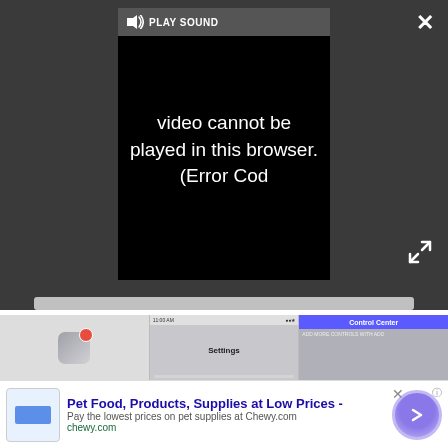[Figure (screenshot): Video player showing error message: 'Video cannot be played in this browser. (Error Cod' with PLAY SOUND button, on dark grey background. Close (X) button top right, expand arrows bottom right.]
1. Launch the Settings app on your iPhone or iPad.
2. Scroll down and tap on Control Center.
3. Select which control you want to remove from the Included Controls section.
4. Tap the remove button (-) next to a control to remove it from the Control Center.
[Figure (screenshot): Three iOS screenshots showing Settings app icon with notification badge, Settings list, and Control Center settings screen.]
[Figure (screenshot): Advertisement banner: Pet Food, Products, Supplies at Low Prices - Pay the lowest prices on pet supplies at Chewy.com. chewy.com]